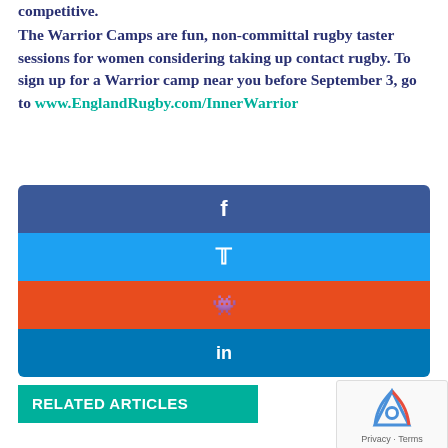competitive.

The Warrior Camps are fun, non-committal rugby taster sessions for women considering taking up contact rugby. To sign up for a Warrior camp near you before September 3, go to www.EnglandRugby.com/InnerWarrior
[Figure (infographic): Social media share buttons: Facebook (dark blue), Twitter (light blue), Reddit (orange-red), LinkedIn (blue)]
RELATED ARTICLES